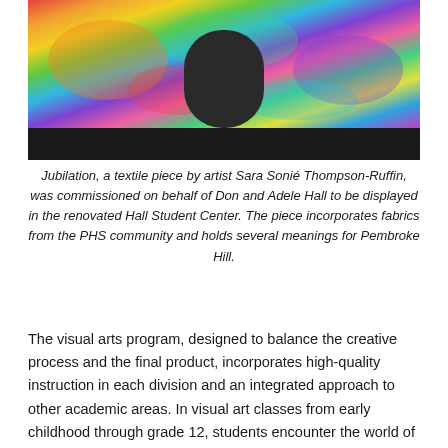[Figure (photo): Photo of a person standing in front of a colorful textile artwork (Jubilation), with a dark bar at the bottom of the image.]
Jubilation, a textile piece by artist Sara Sonié Thompson-Ruffin, was commissioned on behalf of Don and Adele Hall to be displayed in the renovated Hall Student Center. The piece incorporates fabrics from the PHS community and holds several meanings for Pembroke Hill.
The visual arts program, designed to balance the creative process and the final product, incorporates high-quality instruction in each division and an integrated approach to other academic areas. In visual art classes from early childhood through grade 12, students encounter the world of representational, symbolic and expressive meanings created through the organization of basic elements. Each medium explored becomes a tool for the expression of ideas, as well as an extension of the mind, hand and eye.